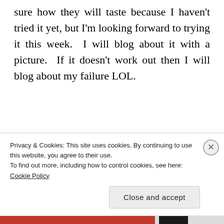sure how they will taste because I haven't tried it yet, but I'm looking forward to trying it this week.  I will blog about it with a picture.  If it doesn't work out then I will blog about my failure LOL.
Share this:
[Figure (screenshot): Social sharing buttons: Email, Print, LinkedIn Share, Tweet, Post, Save, Pocket with count 0]
[Figure (screenshot): Like button and 'Be the first to like this' text]
Privacy & Cookies: This site uses cookies. By continuing to use this website, you agree to their use.
To find out more, including how to control cookies, see here: Cookie Policy
Close and accept